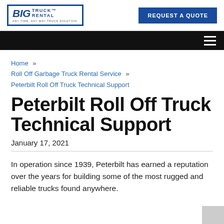BIG TRUCK RENTAL — ANY TIME, ANY WAY TRUCK SOLUTION. | REQUEST A QUOTE
Home » Roll Off Garbage Truck Rental Service » Peterbilt Roll Off Truck Technical Support
Peterbilt Roll Off Truck Technical Support
January 17, 2021
In operation since 1939, Peterbilt has earned a reputation over the years for building some of the most rugged and reliable trucks found anywhere.